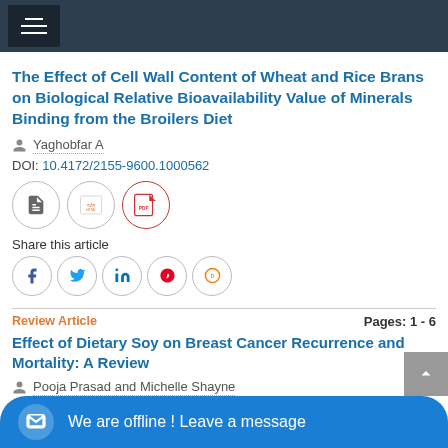The Effect of Cell Wall Content of Wheat and Rice Brans on Biological Relative Bioavailability Value of Minerals Binding from the Broilers Diet
Yaghobfar A
DOI: 10.4172/2155-9600.1000562
[Figure (screenshot): Row of icon buttons: abstract icon, HTML icon, PDF icon]
Share this article
[Figure (screenshot): Social share icons: Facebook, Twitter, LinkedIn, Pinterest, Blogger]
Review Article
Pages: 1 - 6
Effect of Dietary Soy on Breast Cancer Recurrence and Mortality: A Review
Pooja Prasad and Michelle Shayne
DOI: 10.4172/2155-9600.1000563
We are offline ! Leave a message